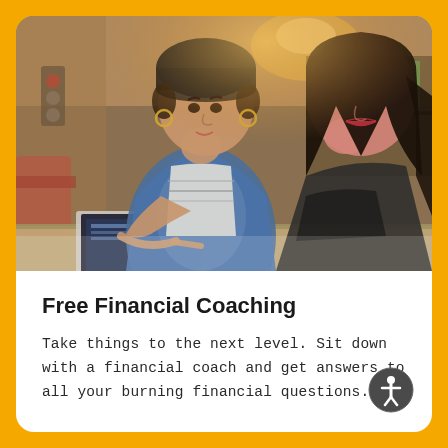[Figure (photo): Two women sitting together looking at a laptop screen. One woman wearing a black beanie hat and denim jacket is pointing at the laptop screen. The other woman with long dark hair is looking on. They appear to be in a cafe or library setting.]
Free Financial Coaching
Take things to the next level. Sit down with a financial coach and get answers to all your burning financial questions.